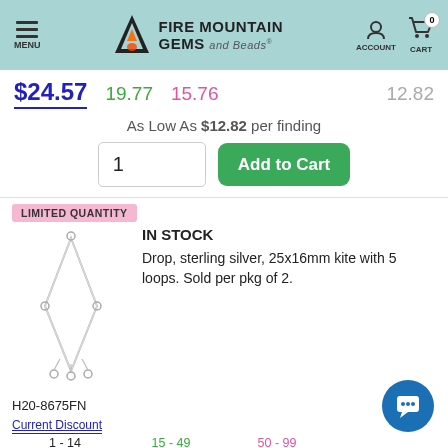Fire Mountain Gems and Beads — MENU | ACCOUNT | CART 0
$24.57  19.77  15.76  12.82
As Low As $12.82 per finding
LIMITED QUANTITY
IN STOCK
Drop, sterling silver, 25x16mm kite with 5 loops. Sold per pkg of 2.
[Figure (photo): Sterling silver kite-shaped drop component with 5 loops]
H20-8675FN
| Current Discount | 15 - 49 | 50 - 99 |  |
| --- | --- | --- | --- |
| 1 - 14 | 15 - 49 | 50 - 99 |  |
| $13.42 | 10.41 | 7.74 |  |
As Low As $3.09 per drop